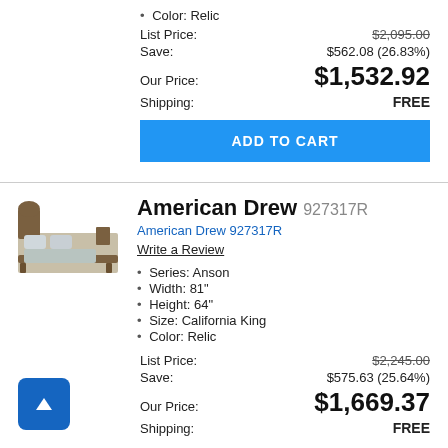Color: Relic
List Price: $2,095.00
Save: $562.08 (26.83%)
Our Price: $1,532.92
Shipping: FREE
ADD TO CART
American Drew 927317R
American Drew 927317R
Write a Review
Series: Anson
Width: 81"
Height: 64"
Size: California King
Color: Relic
List Price: $2,245.00
Save: $575.63 (25.64%)
Our Price: $1,669.37
Shipping: FREE